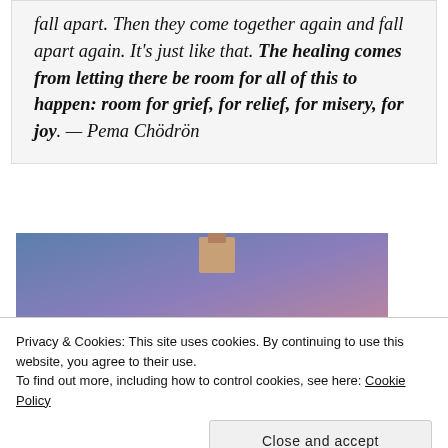fall apart. Then they come together again and fall apart again. It's just like that. The healing comes from letting there be room for all of this to happen: room for grief, for relief, for misery, for joy. — Pema Chödrön
[Figure (photo): Gradient background image in blue and purple tones with a small brown square element near the top center]
Privacy & Cookies: This site uses cookies. By continuing to use this website, you agree to their use. To find out more, including how to control cookies, see here: Cookie Policy
Close and accept